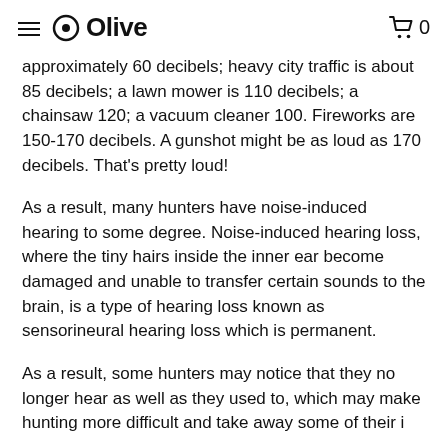Olive
approximately 60 decibels; heavy city traffic is about 85 decibels; a lawn mower is 110 decibels; a chainsaw 120; a vacuum cleaner 100. Fireworks are 150-170 decibels. A gunshot might be as loud as 170 decibels. That's pretty loud!
As a result, many hunters have noise-induced hearing to some degree. Noise-induced hearing loss, where the tiny hairs inside the inner ear become damaged and unable to transfer certain sounds to the brain, is a type of hearing loss known as sensorineural hearing loss which is permanent.
As a result, some hunters may notice that they no longer hear as well as they used to, which may make hunting more difficult and take away some of their i...